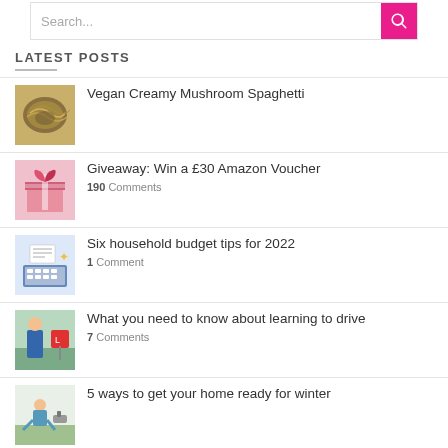Search...
LATEST POSTS
Vegan Creamy Mushroom Spaghetti
Giveaway: Win a £30 Amazon Voucher
190 Comments
Six household budget tips for 2022
1 Comment
What you need to know about learning to drive
7 Comments
5 ways to get your home ready for winter